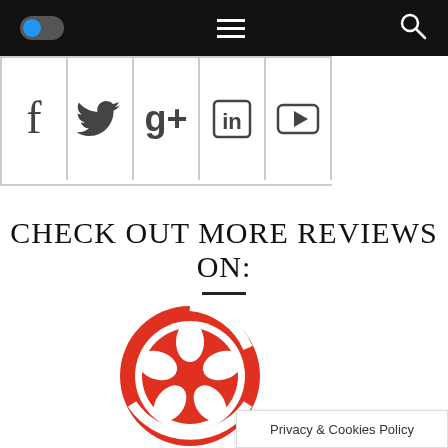[Figure (screenshot): Mobile navigation bar with toggle switch (blue), hamburger menu icon, and search icon on black background]
[Figure (infographic): Row of social media icon buttons: Facebook, Twitter, Google+, LinkedIn, YouTube in bordered cells]
CHECK OUT MORE REVIEWS ON:
[Figure (logo): Yelp logo - red circular badge with flower/shield design in red and white]
Privacy & Cookies Policy